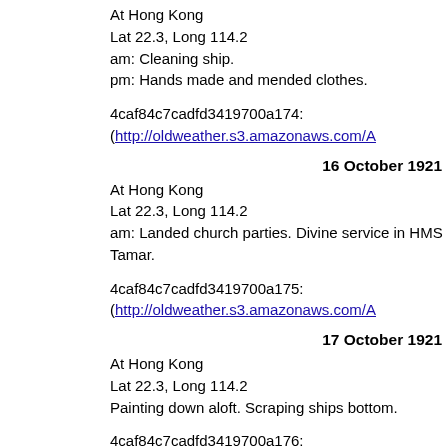At Hong Kong
Lat 22.3, Long 114.2
am: Cleaning ship.
pm: Hands made and mended clothes.
4caf84c7cadfd3419700a174: (http://oldweather.s3.amazonaws.com/A
16 October 1921
At Hong Kong
Lat 22.3, Long 114.2
am: Landed church parties. Divine service in HMS Tamar.
4caf84c7cadfd3419700a175: (http://oldweather.s3.amazonaws.com/A
17 October 1921
At Hong Kong
Lat 22.3, Long 114.2
Painting down aloft. Scraping ships bottom.
4caf84c7cadfd3419700a176: (http://oldweather.s3.amazonaws.com/A
18 October 1921
At Hong Kong
Lat 22.3, Long 114.2
Painting mess decks. Restowing booms.
4caf84c7cadfd3419700a177: (http://oldweather.s3.amazonaws.com/A
19 October 1921
At Hong Kong